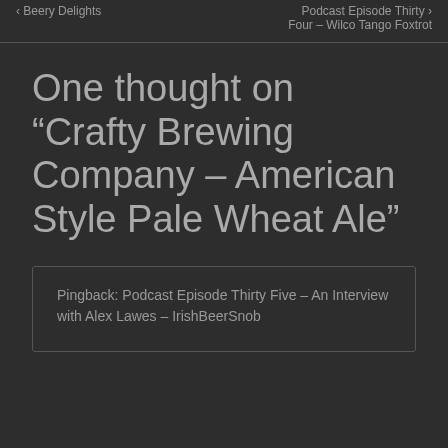< Beery Delights    Podcast Episode Thirty Four – Wilco Tango Foxtrot >
One thought on “Crafty Brewing Company – American Style Pale Wheat Ale”
Pingback: Podcast Episode Thirty Five – An Interview with Alex Lawes – IrishBeerSnob